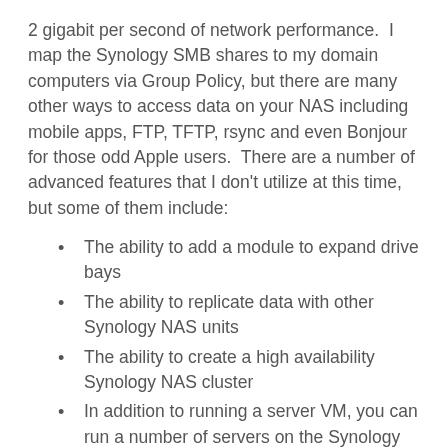2 gigabit per second of network performance.  I map the Synology SMB shares to my domain computers via Group Policy, but there are many other ways to access data on your NAS including mobile apps, FTP, TFTP, rsync and even Bonjour for those odd Apple users.  There are a number of advanced features that I don't utilize at this time, but some of them include:
The ability to add a module to expand drive bays
The ability to replicate data with other Synology NAS units
The ability to create a high availability Synology NAS cluster
In addition to running a server VM, you can run a number of servers on the Synology natively, including LDAP, DNS, Media, Mail, VPN, Web, WebDAV, Wordpress, VTiger, Ruby, PHP, SSO, RADIUS, and many others
if you consider it a NAS or SAN that utiliz...